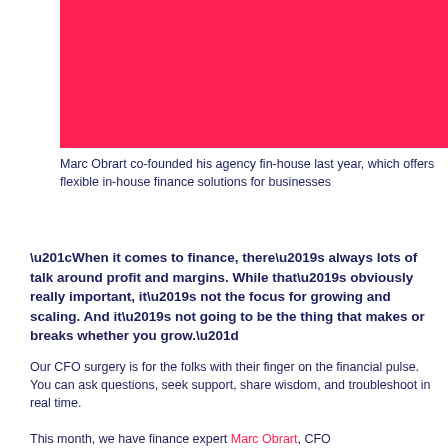[Figure (photo): Red/pink solid color block serving as image placeholder for Marc Obrart photo]
Marc Obrart co-founded his agency fin-house last year, which offers flexible in-house finance solutions for businesses
“When it comes to finance, there’s always lots of talk around profit and margins. While that’s obviously really important, it’s not the focus for growing and scaling. And it’s not going to be the thing that makes or breaks whether you grow.”
Our CFO surgery is for the folks with their finger on the financial pulse. You can ask questions, seek support, share wisdom, and troubleshoot in real time.
This month, we have finance expert Marc Obrart, CFO